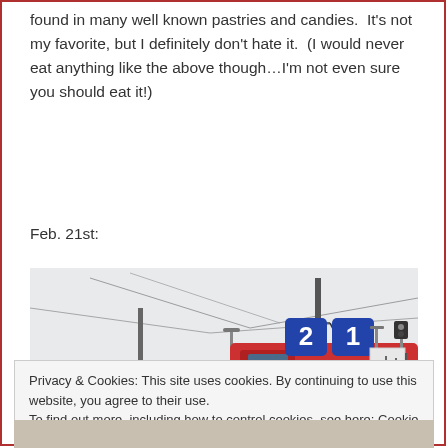found in many well known pastries and candies.  It’s not my favorite, but I definitely don’t hate it.  (I would never eat anything like the above though…I’m not even sure you should eat it!)
Feb. 21st:
[Figure (photo): A red train at a railway station with overhead wires and blue platform signs showing numbers 2 and 1.]
Privacy & Cookies: This site uses cookies. By continuing to use this website, you agree to their use.
To find out more, including how to control cookies, see here: Cookie Policy
Close and accept